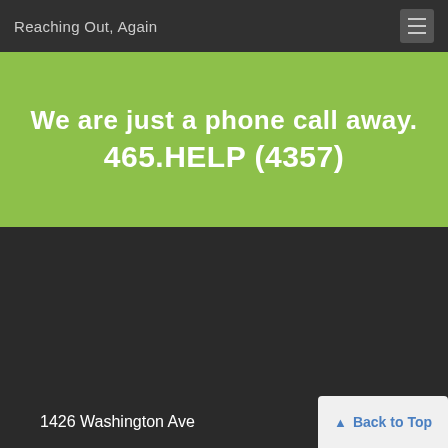Reaching Out, Again
We are just a phone call away.
465.HELP (4357)
1426 Washington Ave